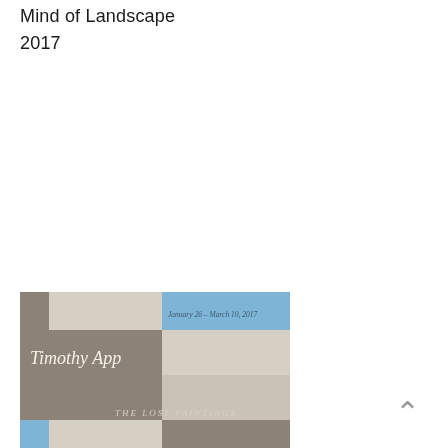Mind of Landscape
2017
[Figure (illustration): Exhibition catalogue cover or poster for 'Timothy App: The Lost Paintings', January 26 – March 10, 2017. The design is a geometric grid of colored rectangles in muted tones — taupe/grey, beige/cream, and sky blue — with the artist name 'Timothy App' in serif italic text and the exhibition title 'THE LOST PAINTINGS' in spaced serif capitals. A date line reads 'January 26 – March 10, 2017'.]